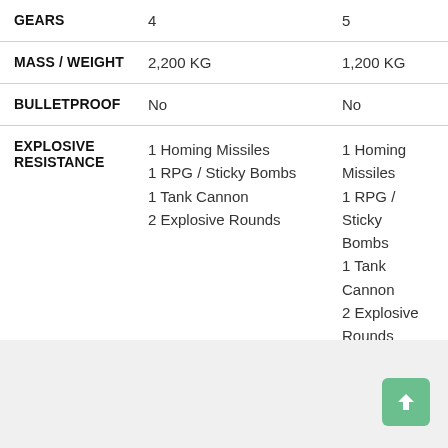|  | Col1 | Col2 |
| --- | --- | --- |
| GEARS | 4 | 5 |
| MASS / WEIGHT | 2,200 KG | 1,200 KG |
| BULLETPROOF | No | No |
| EXPLOSIVE RESISTANCE | 1 Homing Missiles
1 RPG / Sticky Bombs
1 Tank Cannon
2 Explosive Rounds | 1 Homing Missiles
1 RPG / Sticky Bombs
1 Tank Cannon
2 Explosive Rounds |